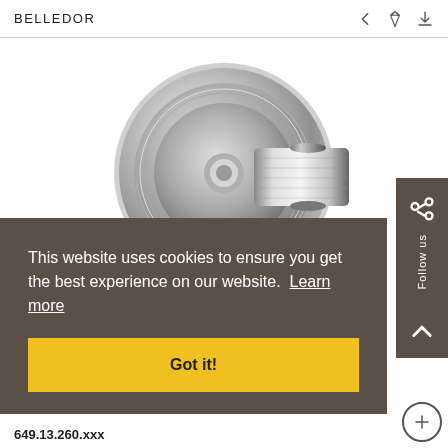BELLEDOR
[Figure (photo): Chrome wall-mounted shower bracket/holder with circular backplate and cylindrical holder arm, highly polished chrome finish on white background]
This website uses cookies to ensure you get the best experience on our website. Learn more
Got it!
Follow us
649.13.260.xxx